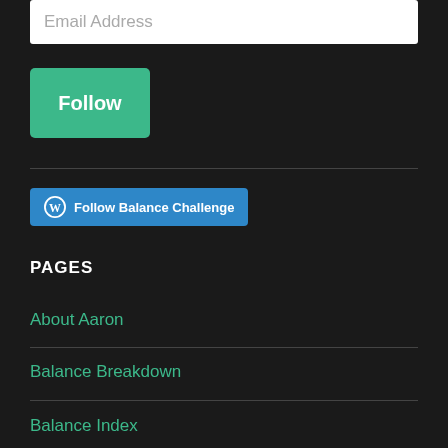Email Address
[Figure (other): Green Follow button]
[Figure (other): WordPress Follow Balance Challenge button]
PAGES
About Aaron
Balance Breakdown
Balance Index